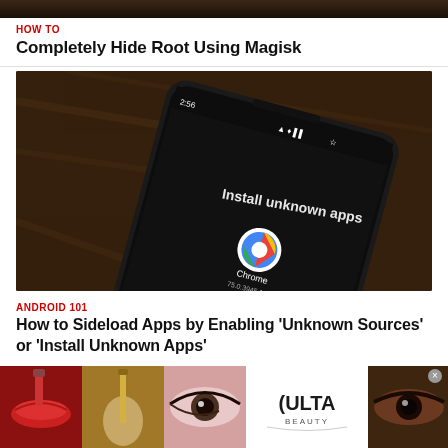[Figure (photo): Top partial image strip showing a dark background]
HOW TO
Completely Hide Root Using Magisk
[Figure (photo): A smartphone on a wooden surface showing the 'Install unknown apps' Android settings screen with Chrome listed, and an 'Allow from this source' toggle]
ANDROID 101
How to Sideload Apps by Enabling 'Unknown Sources' or 'Install Unknown Apps'
[Figure (photo): ULTA Beauty advertisement banner showing makeup imagery - lipstick, brush, eye makeup, ULTA logo, and SHOP NOW text]